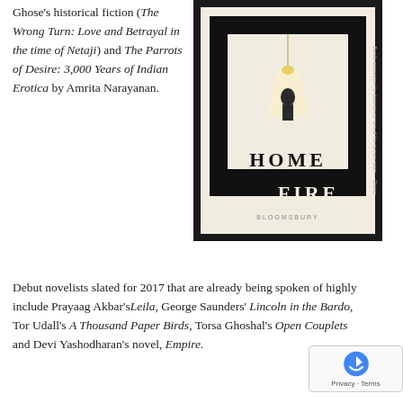Ghose's historical fiction (The Wrong Turn: Love and Betrayal in the time of Netaji) and The Parrots of Desire: 3,000 Years of Indian Erotica by Amrita Narayanan.
[Figure (photo): Book cover of 'Home Fire' published by Bloomsbury. Black and white cover showing a figure illuminated by a pendant light in a geometric frame design. Text on spine reads 'Bande excavates the deepest corners of the human heart - Oberer'.]
Debut novelists slated for 2017 that are already being spoken of highly include Prayaag Akbar's Leila, George Saunders' Lincoln in the Bardo, Tor Udall's A Thousand Paper Birds, Torsa Ghoshal's Open Couplets and Devi Yashodharan's novel, Empire.